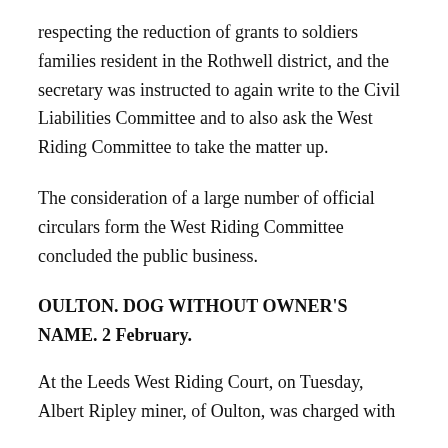respecting the reduction of grants to soldiers families resident in the Rothwell district, and the secretary was instructed to again write to the Civil Liabilities Committee and to also ask the West Riding Committee to take the matter up.
The consideration of a large number of official circulars form the West Riding Committee concluded the public business.
OULTON. DOG WITHOUT OWNER'S NAME. 2 February.
At the Leeds West Riding Court, on Tuesday, Albert Ripley miner, of Oulton, was charged with